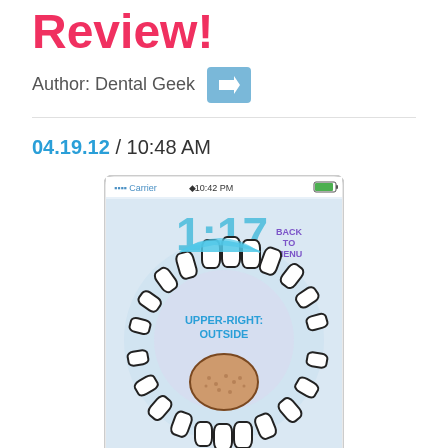Review!
Author: Dental Geek →
04.19.12 / 10:48 AM
[Figure (screenshot): Mobile phone app screenshot showing a dental brushing guide with a ring of teeth illustration, displaying '1:17' timer, 'BACK TO MENU' button, and 'UPPER-RIGHT: OUTSIDE' label with a tongue/gum illustration in the center. Status bar shows 'Carrier', '10:42 PM', and battery indicator.]